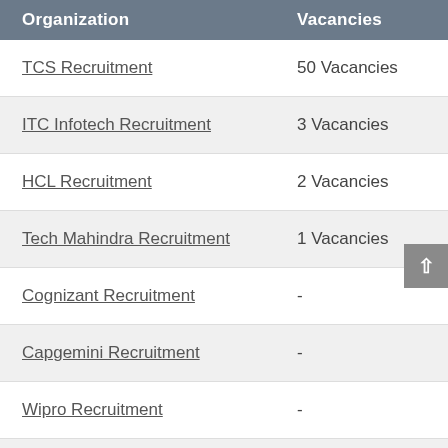| Organization | Vacancies |
| --- | --- |
| TCS Recruitment | 50 Vacancies |
| ITC Infotech Recruitment | 3 Vacancies |
| HCL Recruitment | 2 Vacancies |
| Tech Mahindra Recruitment | 1 Vacancies |
| Cognizant Recruitment | - |
| Capgemini Recruitment | - |
| Wipro Recruitment | - |
| Accenture Recruitment | - |